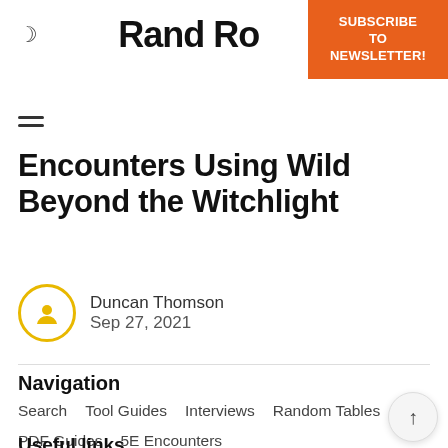Rand Ro
[Figure (other): Subscribe to Newsletter orange button]
Encounters Using Wild Beyond the Witchlight
Duncan Thomson
Sep 27, 2021
Navigation
Search   Tool Guides   Interviews   Random Tables   PDF Guides   5E Encounters
Useful links
DM's Guild PDFs   Itch PDFs   Discord   Twitter